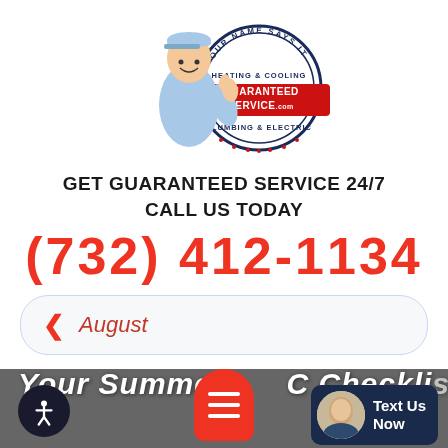[Figure (logo): Guaranteed Service logo: cartoon technician holding a red banner sign reading GUARANTEED SERVICE.com with a circular stamp reading OUR NAME SAYS IT ALL, HEATING & COOLING, PLUMBING & ELECTRIC]
GET GUARANTEED SERVICE 24/7
CALL US TODAY
(732) 412-1134
August
Your Summer AC Checklist